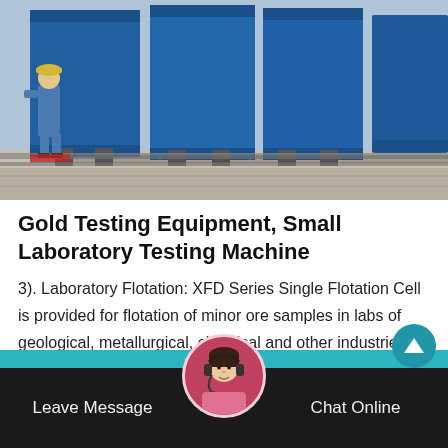[Figure (photo): Industrial photo showing large blue flotation cell machines in a factory setting, with a worker in blue coveralls and hard hat standing to the left.]
Gold Testing Equipment, Small Laboratory Testing Machine
3). Laboratory Flotation: XFD Series Single Flotation Cell is provided for flotation of minor ore samples in labs of geological, metallurgical, chemical and other industries. The product is produced by the only enterprise designated by the former Minist...
Leave Message   Chat Online